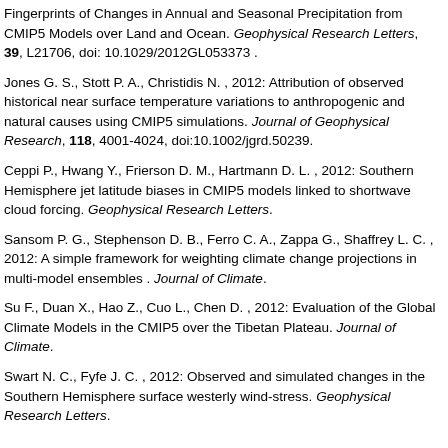Fingerprints of Changes in Annual and Seasonal Precipitation from CMIP5 Models over Land and Ocean. Geophysical Research Letters, 39, L21706, doi: 10.1029/2012GL053373 .
Jones G. S., Stott P. A., Christidis N. , 2012: Attribution of observed historical near surface temperature variations to anthropogenic and natural causes using CMIP5 simulations. Journal of Geophysical Research, 118, 4001-4024, doi:10.1002/jgrd.50239.
Ceppi P., Hwang Y., Frierson D. M., Hartmann D. L. , 2012: Southern Hemisphere jet latitude biases in CMIP5 models linked to shortwave cloud forcing. Geophysical Research Letters.
Sansom P. G., Stephenson D. B., Ferro C. A., Zappa G., Shaffrey L. C. , 2012: A simple framework for weighting climate change projections in multi-model ensembles . Journal of Climate.
Su F., Duan X., Hao Z., Cuo L., Chen D. , 2012: Evaluation of the Global Climate Models in the CMIP5 over the Tibetan Plateau. Journal of Climate.
Swart N. C., Fyfe J. C. , 2012: Observed and simulated changes in the Southern Hemisphere surface westerly wind-stress. Geophysical Research Letters.